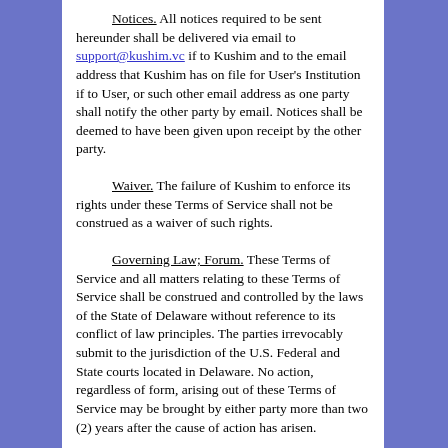Notices. All notices required to be sent hereunder shall be delivered via email to support@kushim.vc if to Kushim and to the email address that Kushim has on file for User's Institution if to User, or such other email address as one party shall notify the other party by email. Notices shall be deemed to have been given upon receipt by the other party.
Waiver. The failure of Kushim to enforce its rights under these Terms of Service shall not be construed as a waiver of such rights.
Governing Law; Forum. These Terms of Service and all matters relating to these Terms of Service shall be construed and controlled by the laws of the State of Delaware without reference to its conflict of law principles. The parties irrevocably submit to the jurisdiction of the U.S. Federal and State courts located in Delaware. No action, regardless of form, arising out of these Terms of Service may be brought by either party more than two (2) years after the cause of action has arisen.